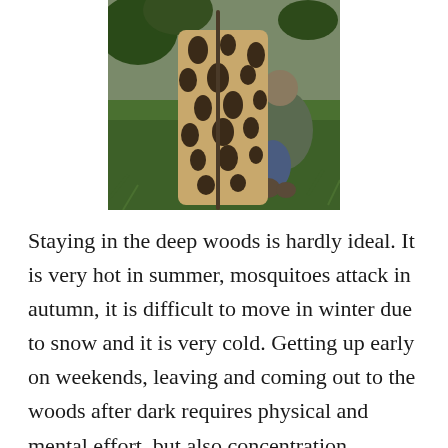[Figure (photo): A person crouching outdoors on grass, holding or wearing a spotted camouflage ghillie suit with a leopard-print pattern. The background shows green grass and foliage.]
Staying in the deep woods is hardly ideal. It is very hot in summer, mosquitoes attack in autumn, it is difficult to move in winter due to snow and it is very cold. Getting up early on weekends, leaving and coming out to the woods after dark requires physical and mental effort, but also concentration, patience and calmness to make photo hunting successful. To become a good photo hunter it's not